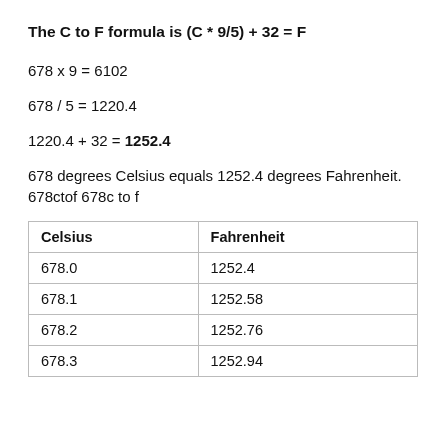The C to F formula is (C * 9/5) + 32 = F
678 x 9 = 6102
678 / 5 = 1220.4
1220.4 + 32 = 1252.4
678 degrees Celsius equals 1252.4 degrees Fahrenheit. 678ctof 678c to f
| Celsius | Fahrenheit |
| --- | --- |
| 678.0 | 1252.4 |
| 678.1 | 1252.58 |
| 678.2 | 1252.76 |
| 678.3 | 1252.94 |